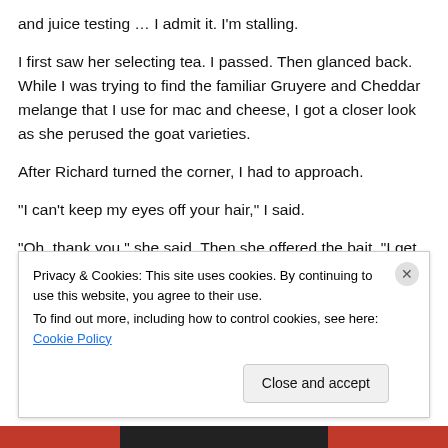and juice testing … I admit it. I'm stalling.
I first saw her selecting tea. I passed. Then glanced back. While I was trying to find the familiar Gruyere and Cheddar melange that I use for mac and cheese, I got a closer look as she perused the goat varieties.
After Richard turned the corner, I had to approach.
“I can't keep my eyes off your hair,” I said.
“Oh, thank you,” she said. Then she offered the bait. “I get
Privacy & Cookies: This site uses cookies. By continuing to use this website, you agree to their use.
To find out more, including how to control cookies, see here: Cookie Policy
Close and accept